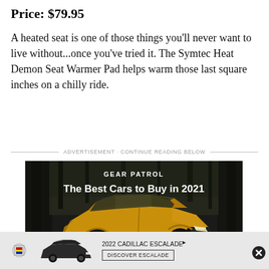Price: $79.95
A heated seat is one of those things you’ll never want to live without…once you’ve tried it. The Symtec Heat Demon Seat Warmer Pad helps warm those last square inches on a chilly ride.
ADVERTISEMENT · CONTINUE READING BELOW
[Figure (photo): Advertisement banner for Gear Patrol showing a yellow/golden SUV (Kia Seltos or similar) in a forest setting with text 'GEAR PATROL' and 'The Best Cars to Buy in 2021']
[Figure (photo): Bottom advertisement banner for 2022 Cadillac Escalade with Cadillac logo, vehicle image, text '2022 CADILLAC ESCALADE' and 'DISCOVER ESCALADE' button]